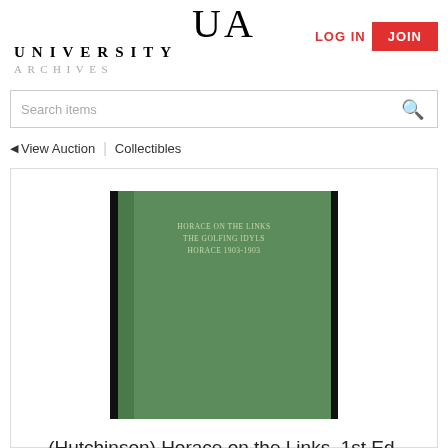UA UNIVERSITY ARCHIVES
Search items
◄ View Auction | Collectibles
[Figure (photo): Green hardcover book titled 'Horace on the Links' with gold lettering on the cover, 1st edition 1903]
(Hutchinson) Horace on the Links, 1st Ed. 1903